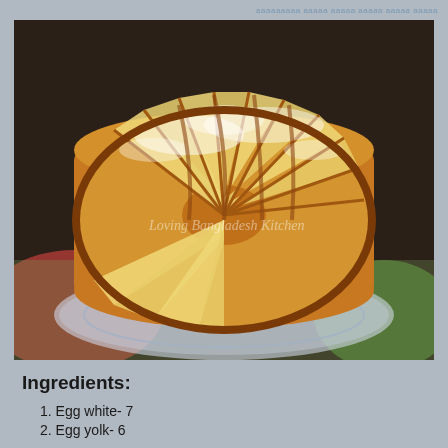ааааааааа ааааа ааааа ааааа ааааа ааааа
[Figure (photo): A round bundt-style cake sliced into wedges fanned out on a glass plate, dusted with powdered sugar, golden brown exterior. Watermark reads 'Loving Bangladesh Kitchen'.]
Ingredients:
1. Egg white- 7
2. Egg yolk- 6